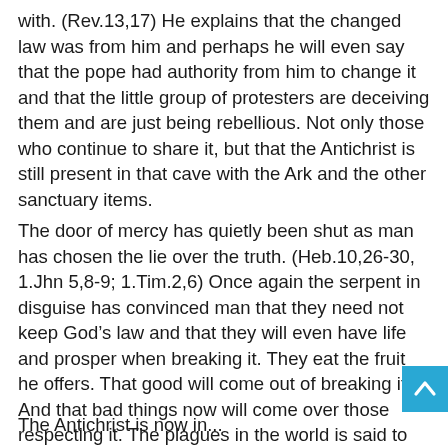with. (Rev.13,17) He explains that the changed law was from him and perhaps he will even say that the pope had authority from him to change it and that the little group of protesters are deceiving them and are just being rebellious. Not only those who continue to share it, but that the Antichrist is still present in that cave with the Ark and the other sanctuary items.
The door of mercy has quietly been shut as man has chosen the lie over the truth. (Heb.10,26-30, 1.Jhn 5,8-9; 1.Tim.2,6) Once again the serpent in disguise has convinced man that they need not keep God's law and that they will even have life and prosper when breaking it. They eat the fruit he offers. That good will come out of breaking it. And that bad things now will come over those respecting it. The plagues in the world is said to be the remnants fault. But the plagues fall on them and not on God's people (Rev.16).
The Antichrist is now in...